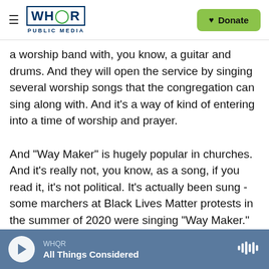WHQR PUBLIC MEDIA | Donate
a worship band with, you know, a guitar and drums. And they will open the service by singing several worship songs that the congregation can sing along with. And it's a way of kind of entering into a time of worship and prayer.

And "Way Maker" is hugely popular in churches. And it's really not, you know, as a song, if you read it, it's not political. It's actually been sung - some marchers at Black Lives Matter protests in the summer of 2020 were singing "Way Maker." So it's a song that is really adaptable. It's catchy. It's soaring. It's - sort of has, like, U2 vibes, like a lot of
WHQR | All Things Considered